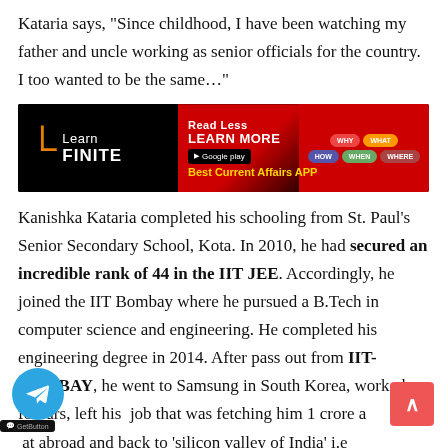Kataria says, “Since childhood, I have been watching my father and uncle working as senior officials for the country. I too wanted to be the same…”
[Figure (infographic): LearnFINITE advertisement banner: black background with red chevron shapes, text 'Learn FINITE', 'Read Less LEARN MORE', Google Play button, 'Best Current Affairs APP', and chat bubble icons on the right.]
Kanishka Kataria completed his schooling from St. Paul’s Senior Secondary School, Kota. In 2010, he had secured an incredible rank of 44 in the IIT JEE. Accordingly, he joined the IIT Bombay where he pursued a B.Tech in computer science and engineering. He completed his engineering degree in 2014. After pass out from IIT-BOMBAY, he went to Samsung in South Korea, worked for ars, left his job that was fetching him 1 crore a at abroad and back to ‘silicon valley of India’ i.e Banglore and began preparation with well-mannered plan